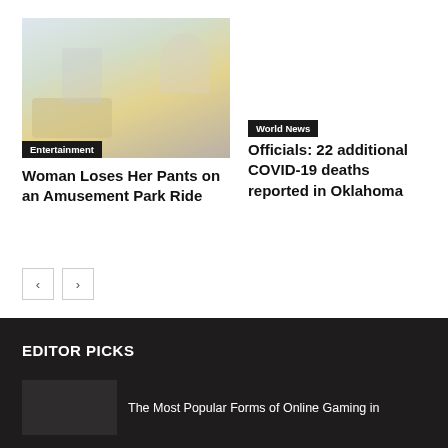[Figure (photo): Amusement park ride with people, faded/washed out illustration style image]
Entertainment
Woman Loses Her Pants on an Amusement Park Ride
World News
Officials: 22 additional COVID-19 deaths reported in Oklahoma
EDITOR PICKS
The Most Popular Forms of Online Gaming in